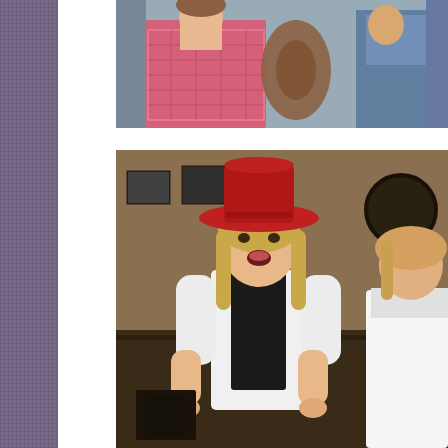[Figure (photo): Top photo showing performers in costume, partially cropped. A person in a pink/red checkered dress is visible along with others in the background.]
[Figure (photo): Bottom photo showing a female performer in a white blouse and black vest, wearing a large red hat, singing or performing on stage with another person partially visible beside her.]
The above photos are